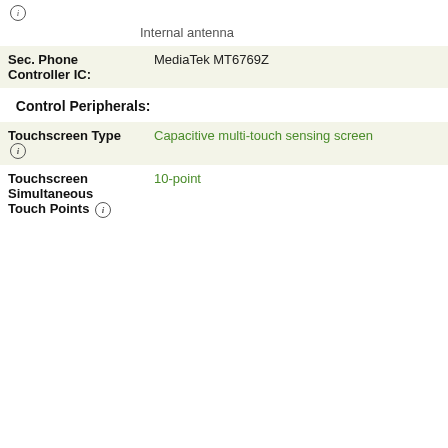ⓘ
Internal antenna
| Sec. Phone Controller IC: | MediaTek MT6769Z |
Control Peripherals:
| Touchscreen Type ⓘ | Capacitive multi-touch sensing screen |
| Touchscreen Simultaneous Touch Points ⓘ | 10-point |